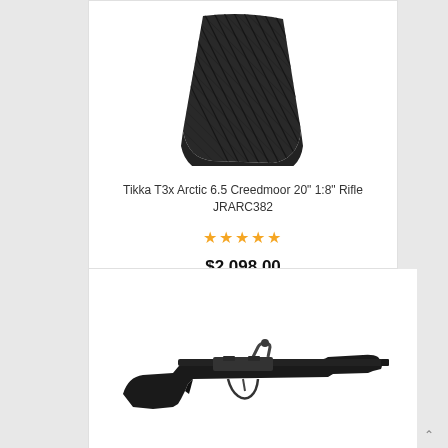[Figure (photo): Close-up photo of a black rubber textured recoil pad / butt pad for a rifle, showing diagonal ribbed grip pattern]
Tikka T3x Arctic 6.5 Creedmoor 20" 1:8" Rifle JRARC382
★★★★★
$2,098.00
[Figure (photo): Side profile photo of a Tikka bolt-action rifle with black synthetic stock and blued barrel]